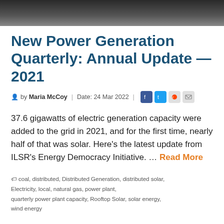[Figure (photo): Dark/black hero image at the top of the article page, partially cropped]
New Power Generation Quarterly: Annual Update — 2021
by Maria McCoy | Date: 24 Mar 2022 |
37.6 gigawatts of electric generation capacity were added to the grid in 2021, and for the first time, nearly half of that was solar. Here's the latest update from ILSR's Energy Democracy Initiative. … Read More
coal, distributed, Distributed Generation, distributed solar, Electricity, local, natural gas, power plant, quarterly power plant capacity, Rooftop Solar, solar energy, wind energy